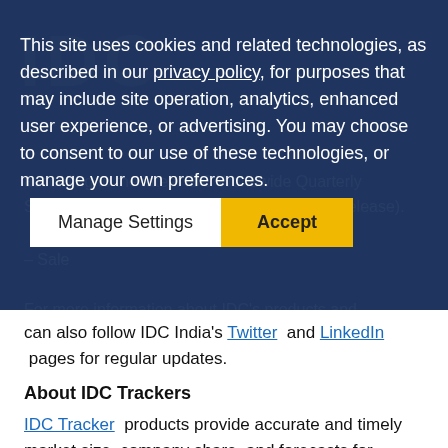[Figure (screenshot): IDC website cookie consent overlay banner with dark blue semi-transparent background. Contains cookie notice text with underlined 'privacy policy' link, and two buttons: 'Manage Settings' (white) and 'Accept' (yellow/gold).]
according to the latest IDC Worldwide Quarterly Server Forecast, 2021Q2 (September 2021 Release).
– Sale
For more information about IDC's products and research services, please contact Shivani Anand, Senior Marketing Specialist, at sanand@idc.com. You can also follow IDC India's Twitter and LinkedIn pages for regular updates.
About IDC Trackers
IDC Tracker products provide accurate and timely market size, company share, and forecasts for hundreds of technology markets from more than 100